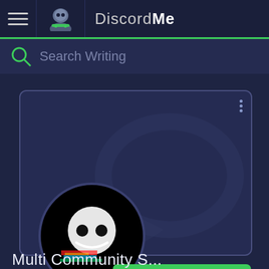Discord.Me
Search Writing
[Figure (screenshot): Discord server card with a glitch-art Discord logo avatar, speech bubble watermark, three-dot menu icon, and a green Join Server button]
Multi Community S...